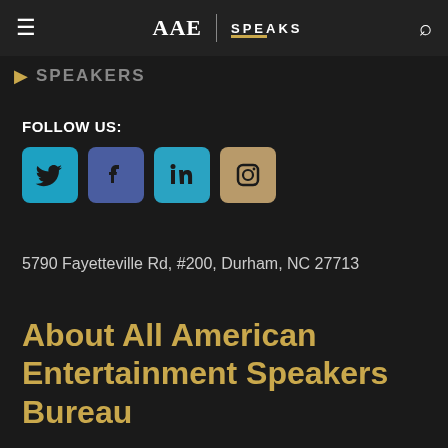AAE SPEAKS
SPEAKERS
FOLLOW US:
[Figure (logo): Social media icons: Twitter (blue), Facebook (blue-purple), LinkedIn (teal), Instagram (tan/gold)]
5790 Fayetteville Rd, #200, Durham, NC 27713
About All American Entertainment Speakers Bureau
All American Entertainment (AAE) is a full-service talent booking agency dedicated to representing the interests of meeting and